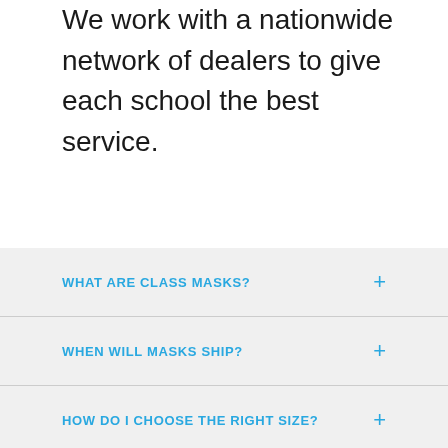We work with a nationwide network of dealers to give each school the best service.
WHAT ARE CLASS MASKS?
WHEN WILL MASKS SHIP?
HOW DO I CHOOSE THE RIGHT SIZE?
WHAT IS FOUNDER SPORT HEALTH?